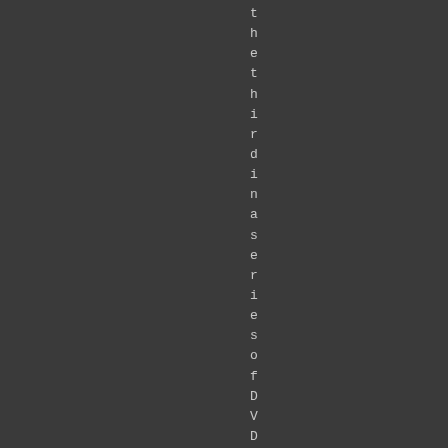the third in a series of DVD sfe